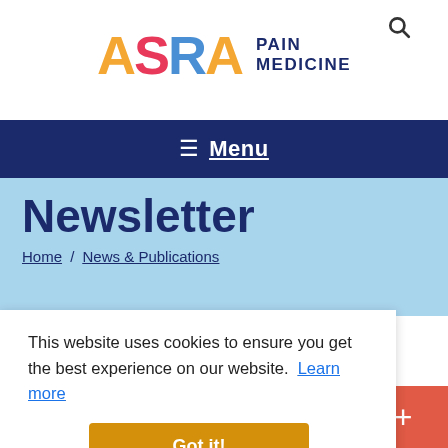[Figure (logo): ASRA Pain Medicine logo with colorful A, S, R, A letters in yellow, pink/red, blue, yellow and 'PAIN MEDICINE' text in dark navy]
≡ Menu
Newsletter
Home / News & Publications
This website uses cookies to ensure you get the best experience on our website. Learn more
Got it!